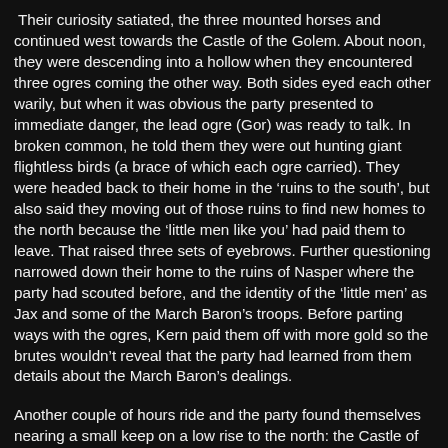Their curiosity satiated, the three mounted horses and continued west towards the Castle of the Golem. About noon, they were descending into a hollow when they encountered three ogres coming the other way. Both sides eyed each other warily, but when it was obvious the party presented to immediate danger, the lead ogre (Gor) was ready to talk. In broken common, he told them they were out hunting giant flightless birds (a brace of which each ogre carried). They were headed back to their home in the ‘ruins to the south’, but also said they moving out of those ruins to find new homes to the north because the ‘little men like you’ had paid them to leave. That raised three sets of eyebrows. Further questioning narrowed down their home to the ruins of Nasper where the party had scouted before, and the identity of the ‘little men’ as Jax and some of the March Baron’s troops. Before parting ways with the ogres, Kern paid them off with more gold so the brutes wouldn’t reveal that the party had learned from them details about the March Baron’s dealings.
Another couple of hours ride and the party found themselves nearing a small keep on a low rise to the north: the Castle of the Golem. Approaching, they first noticed a bloody mess of slain hobgoblins about a hundred yards from the gate. They looked to have been stomped to death by elephants.